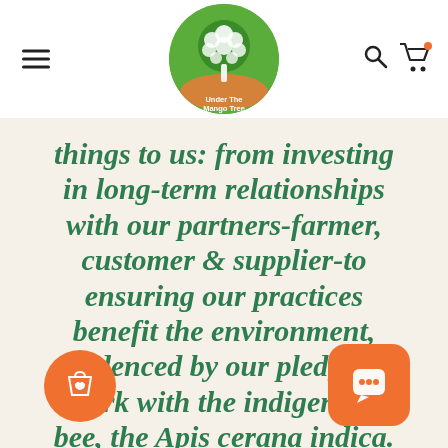[Figure (logo): Under The Mango Tree logo — circular green badge with white tree illustration and text 'Under The Mango Tree']
things to us: from investing in long-term relationships with our partners-farmer, customer & supplier-to ensuring our practices benefit the environment, evidenced by our pledge to work with the indigenous bee, the Apis cerana indica.